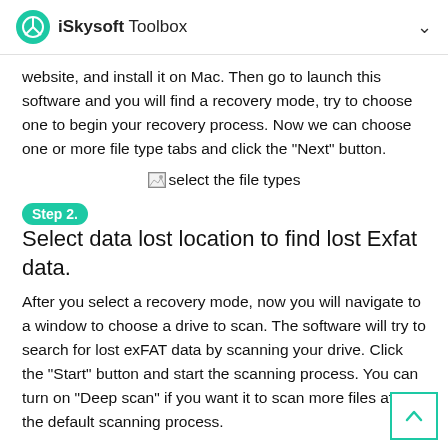iSkysoft Toolbox
website, and install it on Mac. Then go to launch this software and you will find a recovery mode, try to choose one to begin your recovery process. Now we can choose one or more file type tabs and click the "Next" button.
[Figure (screenshot): Broken image placeholder with alt text 'select the file types']
Step 2. Select data lost location to find lost Exfat data.
After you select a recovery mode, now you will navigate to a window to choose a drive to scan. The software will try to search for lost exFAT data by scanning your drive. Click the "Start" button and start the scanning process. You can turn on "Deep scan" if you want it to scan more files after the default scanning process.